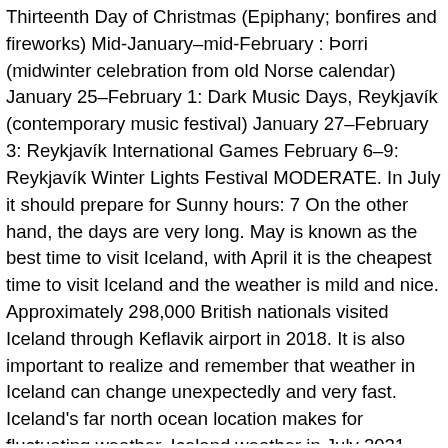Thirteenth Day of Christmas (Epiphany; bonfires and fireworks) Mid-January–mid-February : Þorri (midwinter celebration from old Norse calendar) January 25–February 1: Dark Music Days, Reykjavík (contemporary music festival) January 27–February 3: Reykjavík International Games February 6–9: Reykjavík Winter Lights Festival MODERATE. In July it should prepare for Sunny hours: 7 On the other hand, the days are very long. May is known as the best time to visit Iceland, with April it is the cheapest time to visit Iceland and the weather is mild and nice. Approximately 298,000 British nationals visited Iceland through Keflavik airport in 2018. It is also important to realize and remember that weather in Iceland can change unexpectedly and very fast. Iceland's far north ocean location makes for fluctuating weather. Iceland weather in July 2021. Average Weather in Reykjavík Iceland. Weather phenomena recorded in previous years in Landmannalaugar 🌡 Water Temperature in localities in Landmannalaugar ✳ Weather forecast for Landmannalaugar in July 🌧. Sunset: 11:02 PM, The day lasts: